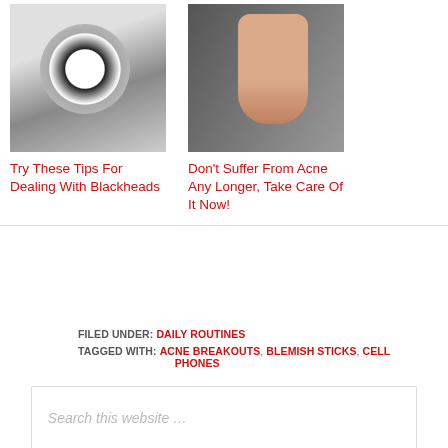[Figure (photo): Clarisonic or similar facial brush device with circular white bristle head, shown on light background]
Try These Tips For Dealing With Blackheads
[Figure (photo): Foot with red painted toenails on dark surface with nail polish bottle and manicure stick]
Don't Suffer From Acne Any Longer, Take Care Of It Now!
FILED UNDER: DAILY ROUTINES
TAGGED WITH: ACNE BREAKOUTS, BLEMISH STICKS, CELL PHONES
Search this website ...